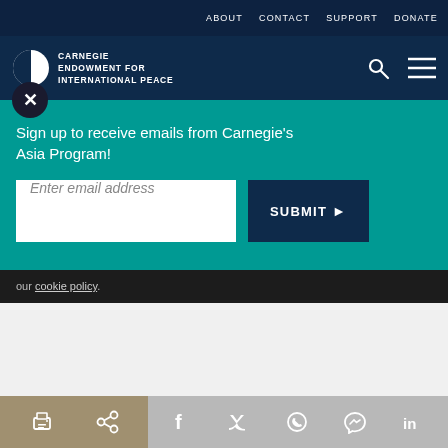ABOUT   CONTACT   SUPPORT   DONATE
[Figure (logo): Carnegie Endowment for International Peace logo with circular split icon and text]
EXECUTIVE SUMMARY
ternal and external forces are converging on the
Sign up to receive emails from Carnegie's Asia Program!
Enter email address
SUBMIT ▶
our cookie policy.
[Figure (other): Bottom social sharing bar with print, link, Facebook, Twitter, WhatsApp, Messenger, and LinkedIn icons]